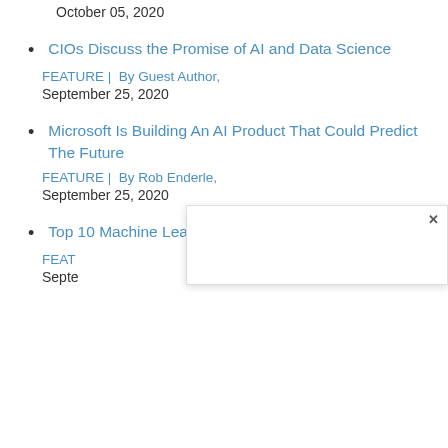October 05, 2020
CIOs Discuss the Promise of AI and Data Science
FEATURE |  By Guest Author,
September 25, 2020
Microsoft Is Building An AI Product That Could Predict The Future
FEATURE |  By Rob Enderle,
September 25, 2020
Top 10 Machine Learning Companies 2021
FEAT
Septe